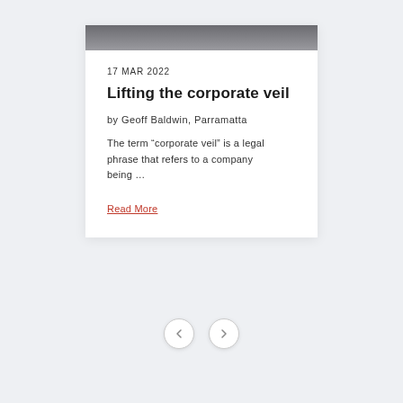[Figure (photo): Partial photo visible at top of card, dark tones showing portion of a person]
17 MAR 2022
Lifting the corporate veil
by Geoff Baldwin, Parramatta
The term “corporate veil” is a legal phrase that refers to a company being …
Read More